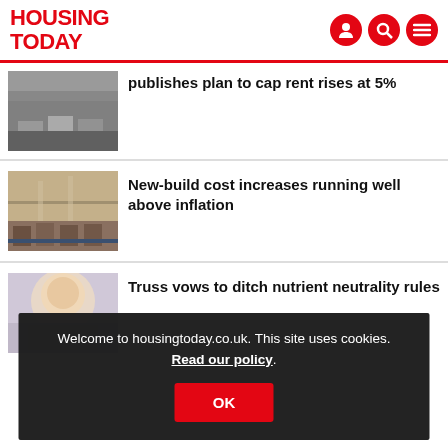HOUSING TODAY
publishes plan to cap rent rises at 5%
New-build cost increases running well above inflation
Truss vows to ditch nutrient neutrality rules
Welcome to housingtoday.co.uk. This site uses cookies. Read our policy.
OK